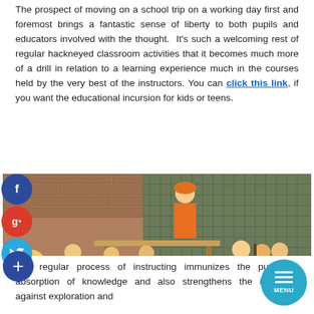The prospect of moving on a school trip on a working day first and foremost brings a fantastic sense of liberty to both pupils and educators involved with the thought. It's such a welcoming rest of regular hackneyed classroom activities that it becomes much more of a drill in relation to a learning experience much in the courses held by the very best of the instructors. You can click this link, if you want the educational incursion for kids or teens.
[Figure (photo): School children in orange safety vests gathered around a table outdoors at what appears to be a construction or industrial site visit. An instructor in an orange hard hat and vest leans over the table demonstrating something. A metal grid fence is visible in the background.]
The regular process of instructing immunizes the pupils to absorption of knowledge and also strengthens the instructor against exploration and